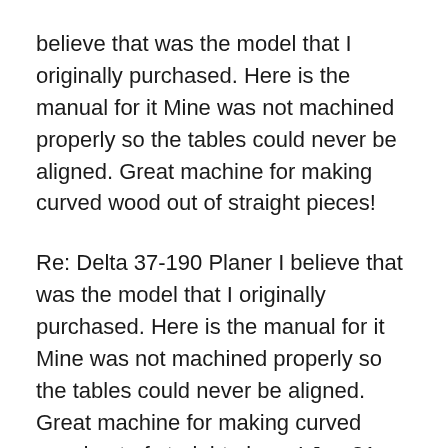believe that was the model that I originally purchased. Here is the manual for it Mine was not machined properly so the tables could never be aligned. Great machine for making curved wood out of straight pieces!
Re: Delta 37-190 Planer I believe that was the model that I originally purchased. Here is the manual for it Mine was not machined properly so the tables could never be aligned. Great machine for making curved wood out of straight pieces! Jan 21, 2001В В· Find helpful customer reviews and review ratings for DELTA 37-195 Professional 6-Inch 1-Horsepower Jointer, 120/240-Volt 1-Phase at Amazon.com. Read honest and вЂ¦